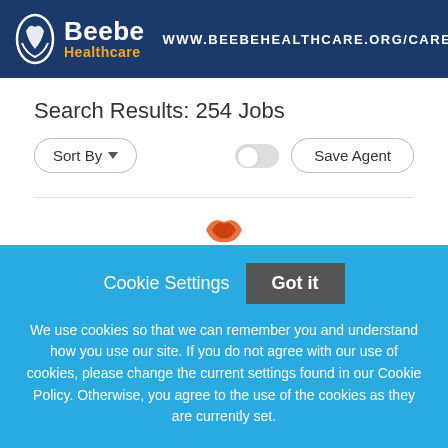[Figure (logo): Beebe Healthcare banner with logo, brand name, website URL www.beebehealthcare.org/careers, and hospital building photo on the right]
Search Results: 254 Jobs
Sort By (dropdown) | toggle | Save Agent
Cookie Settings  Got it

We use cookies so that we can remember you and understand how you use our site. If you do not agree with our use of cookies, please change the current settings found in our Cookie Policy. Otherwise, you agree to the use of the cookies as they are currently set.